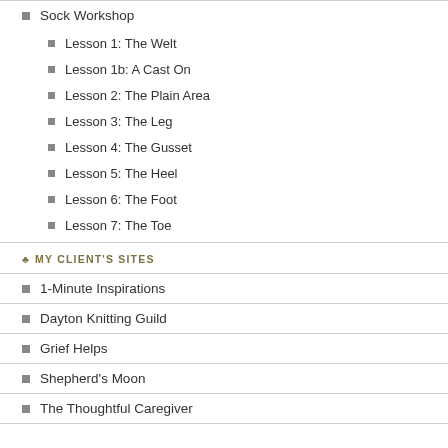Sock Workshop
Lesson 1: The Welt
Lesson 1b: A Cast On
Lesson 2: The Plain Area
Lesson 3: The Leg
Lesson 4: The Gusset
Lesson 5: The Heel
Lesson 6: The Foot
Lesson 7: The Toe
♣ MY CLIENT'S SITES
1-Minute Inspirations
Dayton Knitting Guild
Grief Helps
Shepherd's Moon
The Thoughtful Caregiver